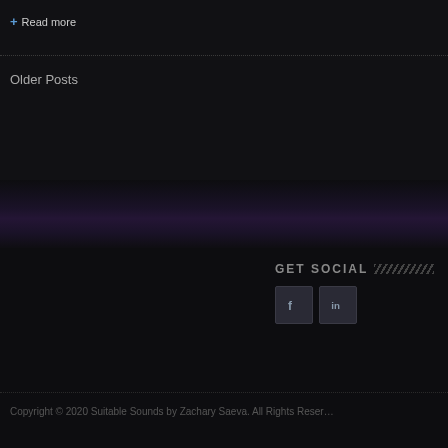+ Read more
Older Posts
[Figure (illustration): Dark aurora/glow background with purple and blue haze across a dark landscape strip]
GET SOCIAL
[Figure (illustration): Facebook and LinkedIn social media icons as dark square buttons]
Copyright © 2020 Suitable Sounds by Zachary Saeva. All Rights Reserved.